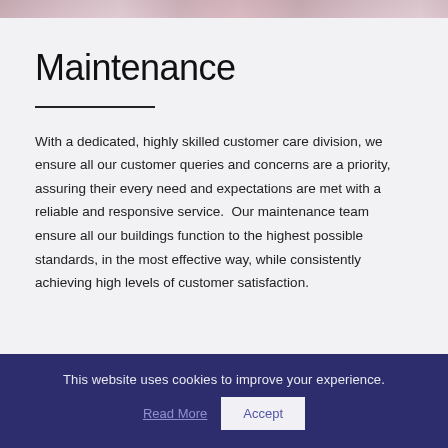[Figure (photo): Partial photo strip at the top of the page showing people]
Maintenance
With a dedicated, highly skilled customer care division, we ensure all our customer queries and concerns are a priority, assuring their every need and expectations are met with a reliable and responsive service.  Our maintenance team ensure all our buildings function to the highest possible standards, in the most effective way, while consistently achieving high levels of customer satisfaction.
This website uses cookies to improve your experience.
Read More
Accept